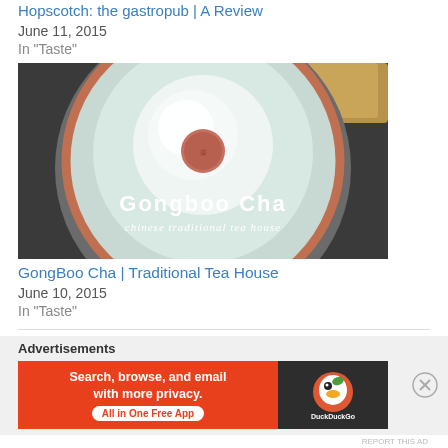Hopscotch: the gastropub | A Review
June 11, 2015
In "Taste"
[Figure (photo): Top-down view of a celadon ceramic bowl with terracotta rim and a small stamp in the center, with text overlaid: 'Gongboo Cha' and 'chinese traditional tea house']
GongBoo Cha | Traditional Tea House
June 10, 2015
In "Taste"
Advertisements
[Figure (screenshot): DuckDuckGo advertisement banner: 'Search, browse, and email with more privacy. All in One Free App' on orange background with DuckDuckGo logo on dark right panel]